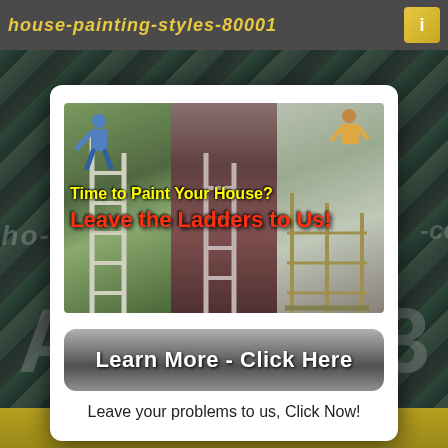house-painting-styles-80001
[Figure (screenshot): Modal popup overlay on a wood-textured background. Contains three side-by-side house painting / ladder images with overlay text 'Time to Paint Your House? Leave the Ladders to Us!', a 'Learn More - Click Here' button, and subtext 'Leave your problems to us, Click Now!']
Time to Paint Your House?
Leave the Ladders to Us!
Learn More - Click Here
Leave your problems to us, Click Now!